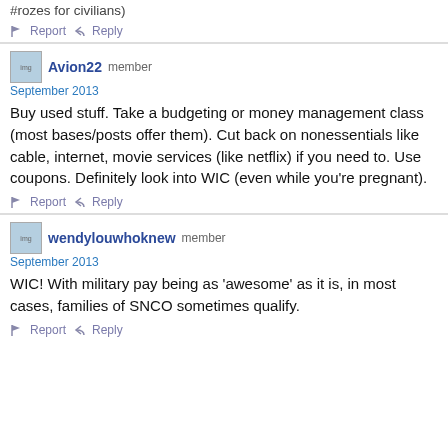#rozes for civilians)
Report  Reply
Avion22  member
September 2013
Buy used stuff.  Take a budgeting or money management class (most bases/posts offer them).   Cut back on nonessentials like cable, internet, movie services (like netflix) if you need to.   Use coupons. Definitely look into WIC (even while you're pregnant).
Report  Reply
wendylouwhoknew  member
September 2013
WIC! With military pay being as 'awesome' as it is, in most cases, families of SNCO sometimes qualify.
Report  Reply